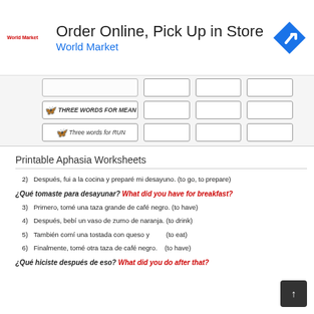[Figure (screenshot): Advertisement banner for World Market: 'Order Online, Pick Up in Store' with World Market logo and navigation icon]
[Figure (screenshot): Partial view of a worksheet with rows labeled 'THREE WORDS FOR MEAN' and 'Three words for RUN' with blank input boxes]
Printable Aphasia Worksheets
2) Después, fui a la cocina y preparé mi desayuno. (to go, to prepare)
¿Qué tomaste para desayunar? What did you have for breakfast?
3) Primero, tomé una taza grande de café negro. (to have)
4) Después, bebí un vaso de zumo de naranja. (to drink)
5) También comí una tostada con queso y (to eat)
6) Finalmente, tomé otra taza de café negro. (to have)
¿Qué hiciste después de eso? What did you do after that?